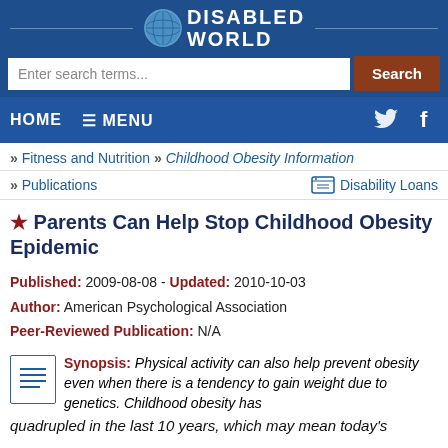DISABLED WORLD
[Figure (logo): Disabled World logo with globe icon]
Enter search terms... Search
HOME ☰ MENU
» Fitness and Nutrition » Childhood Obesity Information
» Publications   Disability Loans
★ Parents Can Help Stop Childhood Obesity Epidemic
Published: 2009-08-08 - Updated: 2010-10-03
Author: American Psychological Association
Peer-Reviewed Publication: N/A
Synopsis: Physical activity can also help prevent obesity even when there is a tendency to gain weight due to genetics. Childhood obesity has quadrupled in the last 10 years, which may mean today's